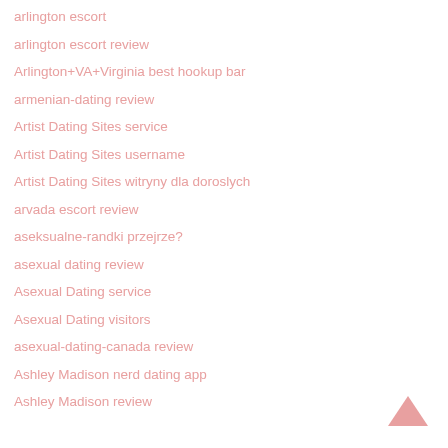arlington escort
arlington escort review
Arlington+VA+Virginia best hookup bar
armenian-dating review
Artist Dating Sites service
Artist Dating Sites username
Artist Dating Sites witryny dla doroslych
arvada escort review
aseksualne-randki przejrze?
asexual dating review
Asexual Dating service
Asexual Dating visitors
asexual-dating-canada review
Ashley Madison nerd dating app
Ashley Madison review